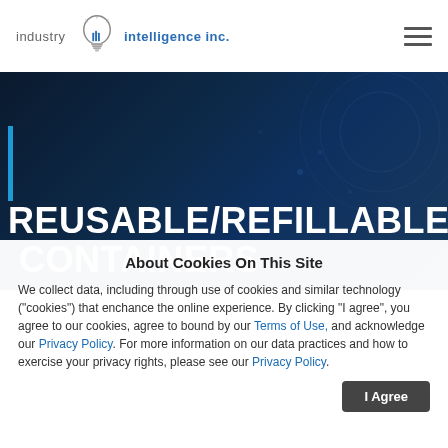industry intelligence inc.
REUSABLE/REFILLABLE/S... CONTAINERS
About Cookies On This Site
We collect data, including through use of cookies and similar technology ("cookies") that enchance the online experience. By clicking "I agree", you agree to our cookies, agree to bound by our Terms of Use, and acknowledge our Privacy Policy. For more information on our data practices and how to exercise your privacy rights, please see our Privacy Policy.